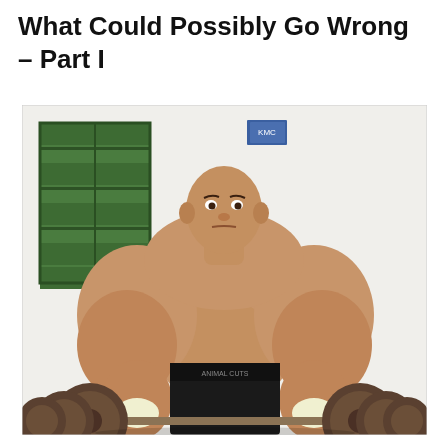What Could Possibly Go Wrong – Part I
[Figure (photo): A heavily muscular man with extremely enlarged arms (synthol or steroid-induced swelling), shirtless, lifting a heavy barbell with large rusty weight plates, wearing black shorts and white gloves, standing in front of a white wall with a green-shuttered window.]